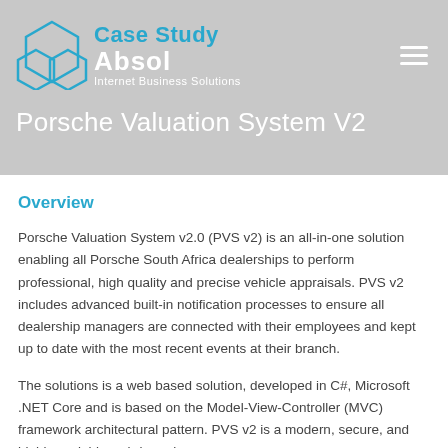Case Study — Absol Internet Business Solutions
Porsche Valuation System V2
Overview
Porsche Valuation System v2.0 (PVS v2) is an all-in-one solution enabling all Porsche South Africa dealerships to perform professional, high quality and precise vehicle appraisals. PVS v2 includes advanced built-in notification processes to ensure all dealership managers are connected with their employees and kept up to date with the most recent events at their branch.
The solutions is a web based solution, developed in C#, Microsoft .NET Core and is based on the Model-View-Controller (MVC) framework architectural pattern. PVS v2 is a modern, secure, and highly scalable web-based